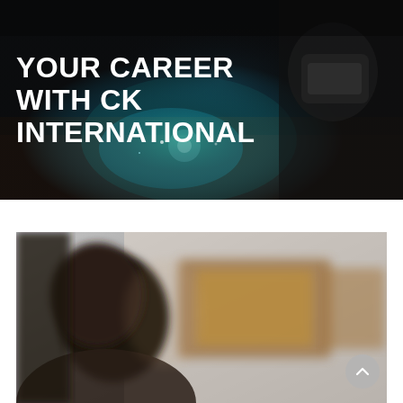[Figure (photo): Dark industrial photo of a welder working, with teal/blue sparks and glow, person wearing welding mask visible on the right]
YOUR CAREER WITH CK INTERNATIONAL
[Figure (photo): Blurred photo of a person viewed from behind sitting at a computer workstation with monitors showing content]